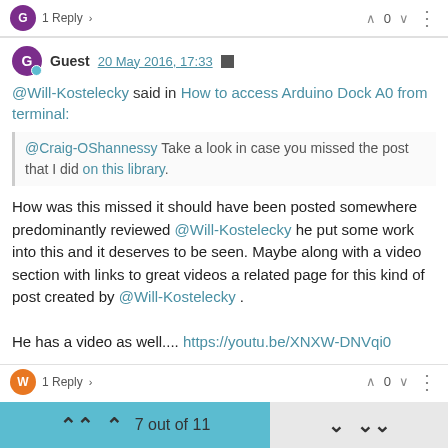G  1 Reply >   ∧ 0 ∨  ⋮
Guest 20 May 2016, 17:33
@Will-Kostelecky said in How to access Arduino Dock A0 from terminal:
@Craig-OShannessy Take a look in case you missed the post that I did on this library.
How was this missed it should have been posted somewhere predominantly reviewed @Will-Kostelecky he put some work into this and it deserves to be seen. Maybe along with a video section with links to great videos a related page for this kind of post created by @Will-Kostelecky . He has a video as well.... https://youtu.be/XNXW-DNVqi0
W  1 Reply >   ∧ 0 ∨  ⋮
7 out of 11